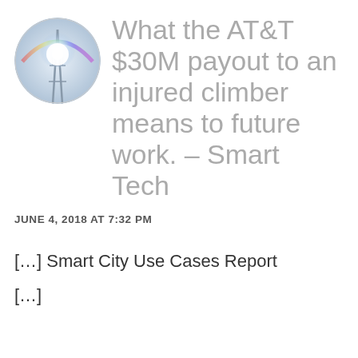[Figure (photo): Circular avatar image showing a cell tower with a rainbow and bright lens flare light effect]
What the AT&T $30M payout to an injured climber means to future work. – Smart Tech
JUNE 4, 2018 AT 7:32 PM
[…] Smart City Use Cases Report
[…]